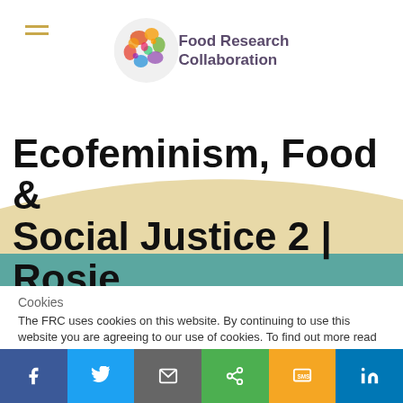[Figure (logo): Food Research Collaboration logo with colorful circular food illustration and text]
Ecofeminism, Food & Social Justice 2 | Rosie
Cookies
The FRC uses cookies on this website. By continuing to use this website you are agreeing to our use of cookies. To find out more read our cookie policy.
Cookie Settings    Accept All